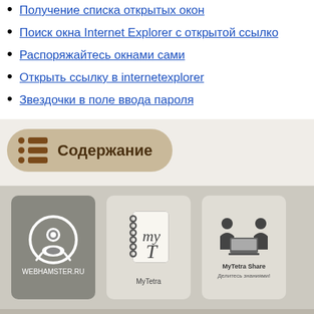Получение списка открытых окон
Поиск окна Internet Explorer с открытой ссылко...
Распоряжайтесь окнами сами
Открыть ссылку в internetexplorer
Звездочки в поле ввода пароля
[Figure (infographic): Table of contents button with list icon and label Содержание]
[Figure (infographic): Three app icons: WebHamster.ru, MyTetra, MyTetra Share (Делитесь знаниями!)]
MyTetra Share v.0.58